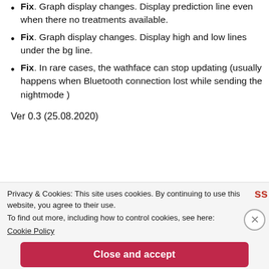Fix. Graph display changes. Display prediction line even when there no treatments available.
Fix. Graph display changes. Display high and low lines under the bg line.
Fix. In rare cases, the wathface can stop updating (usually happens when Bluetooth connection lost while sending the nightmode )
Ver 0.3 (25.08.2020)
Privacy & Cookies: This site uses cookies. By continuing to use this website, you agree to their use.
To find out more, including how to control cookies, see here:
Cookie Policy
Close and accept